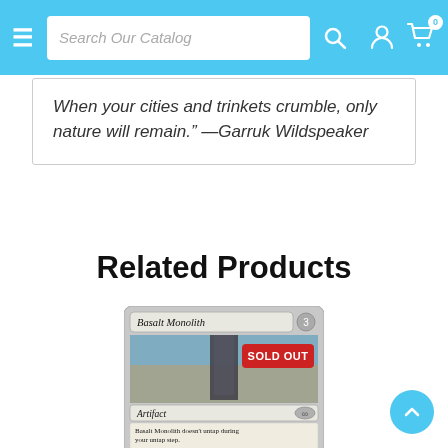Search Our Catalog — navigation bar with hamburger menu, search box, account icon, and cart icon (0 items)
When your cities and trinkets crumble, only nature will remain." —Garruk Wildspeaker
Related Products
[Figure (photo): Magic: The Gathering card 'Basalt Monolith' showing a tall stone monolith under cloudy skies. Card type: Artifact. Text: 'Basalt Monolith doesn't untap during your untap step. {T}: Add {C}{C}{C}. {3}: Untap Basalt Monolith.' A red 'SOLD OUT' badge overlays the card image.]